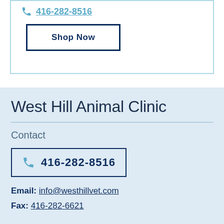416-282-8516
Shop Now
West Hill Animal Clinic
Contact
416-282-8516
Email: info@westhillvet.com
Fax: 416-282-6621